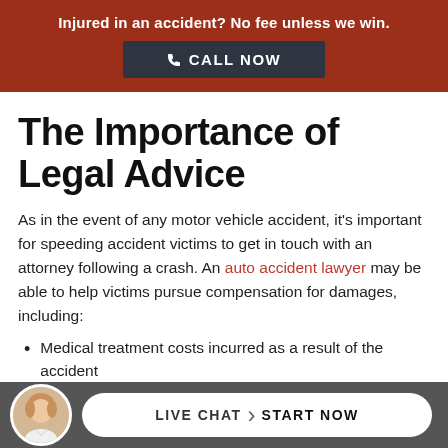Injured in an accident? No fee unless we win. CALL NOW
The Importance of Legal Advice
As in the event of any motor vehicle accident, it's important for speeding accident victims to get in touch with an attorney following a crash. An auto accident lawyer may be able to help victims pursue compensation for damages, including:
Medical treatment costs incurred as a result of the accident
Loss of income or diminished future earning
LIVE CHAT START NOW